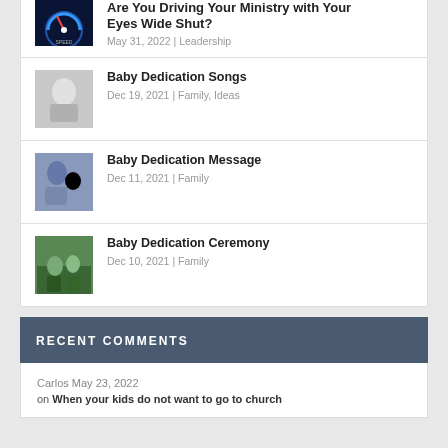Are You Driving Your Ministry with Your Eyes Wide Shut?
May 31, 2022 | Leadership
Baby Dedication Songs
Dec 19, 2021 | Family, Ideas
Baby Dedication Message
Dec 11, 2021 | Family
Baby Dedication Ceremony
Dec 10, 2021 | Family
RECENT COMMENTS
Carlos May 23, 2022 on When your kids do not want to go to church